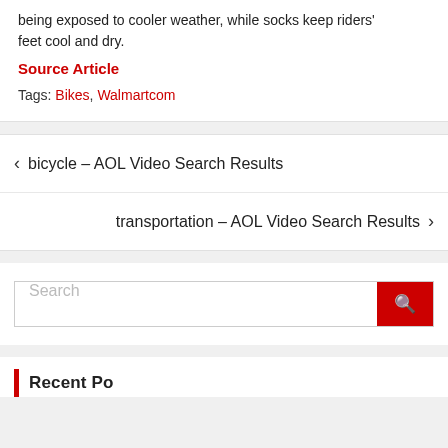being exposed to cooler weather, while socks keep riders' feet cool and dry.
Source Article
Tags: Bikes, Walmartcom
< bicycle – AOL Video Search Results
transportation – AOL Video Search Results >
Search
Recent Posts